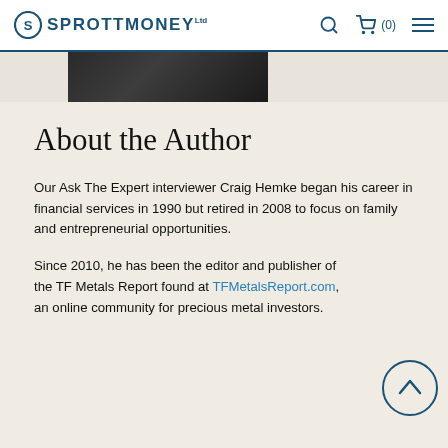SPROTTMONEY
[Figure (photo): Partial view of a person's photograph, cropped at the top of the content area]
About the Author
Our Ask The Expert interviewer Craig Hemke began his career in financial services in 1990 but retired in 2008 to focus on family and entrepreneurial opportunities.
Since 2010, he has been the editor and publisher of the TF Metals Report found at TFMetalsReport.com, an online community for precious metal investors.